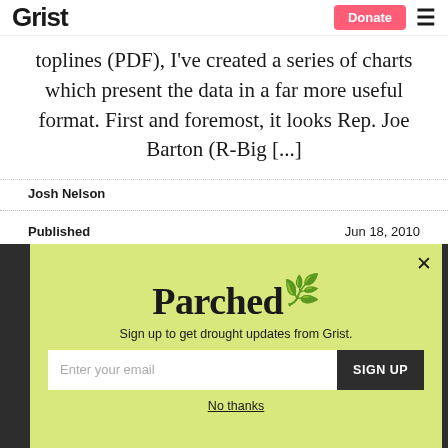Grist | Donate
toplines (PDF), I've created a series of charts which present the data in a far more useful format. First and foremost, it looks Rep. Joe Barton (R-Big [...]
Josh Nelson
Published   Jun 18, 2010
[Figure (screenshot): Parched newsletter signup popup with yellow-green background, text 'Sign up to get drought updates from Grist.', email input field, SIGN UP button, and 'No thanks' link.]